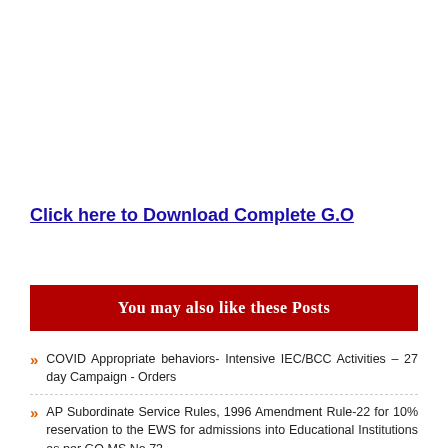Click here to Download Complete G.O
You may also like these Posts
COVID Appropriate behaviors- Intensive IEC/BCC Activities – 27 day Campaign - Orders
AP Subordinate Service Rules, 1996 Amendment Rule-22 for 10% reservation to the EWS for admissions into Educational Institutions as per GO.MS.No 73
AP SSC Public Examinations Constitution of High Power Committee to evolve the procedure for declaration of the